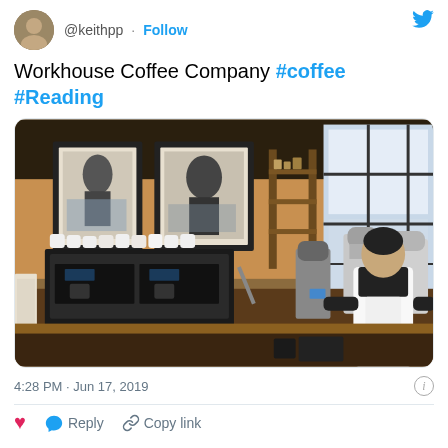@keithpp · Follow
Workhouse Coffee Company #coffee #Reading
[Figure (photo): Interior of Workhouse Coffee Company cafe showing a barista in a white apron working behind an espresso machine, with coffee grinders, shelves, cups, and large windows in the background]
4:28 PM · Jun 17, 2019
Reply  Copy link